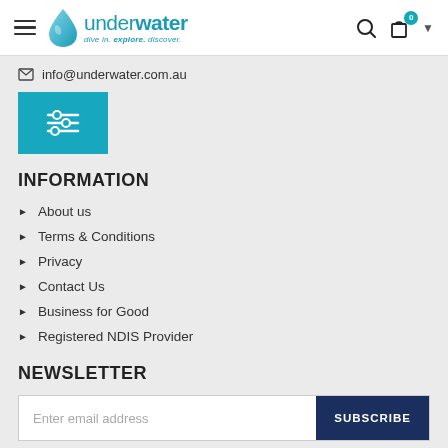underwater – dive in. explore. discover.
info@underwater.com.au
[Figure (other): Filter/settings icon button (teal background with three horizontal slider lines in white)]
INFORMATION
About us
Terms & Conditions
Privacy
Contact Us
Business for Good
Registered NDIS Provider
NEWSLETTER
Enter email address  SUBSCRIBE